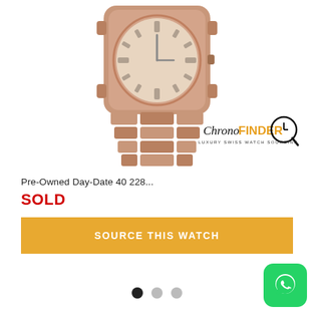[Figure (photo): Rose gold Rolex Day-Date 40 watch with president bracelet, showing dial and bracelet detail. ChronoFinder Luxury Swiss Watch Sourcing logo watermark visible in bottom right of image.]
Pre-Owned Day-Date 40 228...
SOLD
SOURCE THIS WATCH
[Figure (other): WhatsApp contact button (green rounded square with WhatsApp phone icon)]